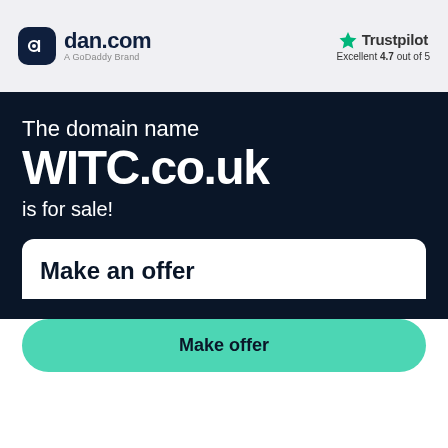[Figure (logo): dan.com logo with dark navy rounded square icon and text 'dan.com' with 'A GoDaddy Brand' subtitle]
[Figure (logo): Trustpilot logo with green star icon, 'Trustpilot' text, and 'Excellent 4.7 out of 5' rating]
The domain name
WITC.co.uk
is for sale!
Make an offer
Make offer